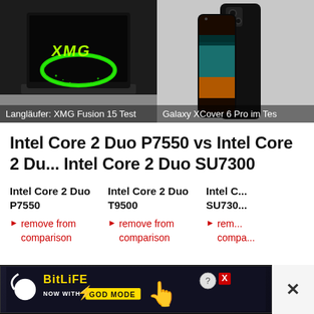[Figure (photo): XMG Fusion 15 laptop with green XMG logo on black screen, dark background]
Langläufer: XMG Fusion 15 Test
[Figure (photo): Samsung Galaxy XCover 6 Pro smartphone shown from back and front, dark colorway]
Galaxy XCover 6 Pro im Test
Intel Core 2 Duo P7550 vs Intel Core 2 Duo Intel Core 2 Duo SU7300
Intel Core 2 Duo P7550
Intel Core 2 Duo T9500
Intel Core 2 Duo SU7300
remove from comparison
remove from comparison
remove from comparison
[Figure (screenshot): BitLife advertisement banner - NOW WITH GOD MODE, with hand pointing graphic and help/close buttons]